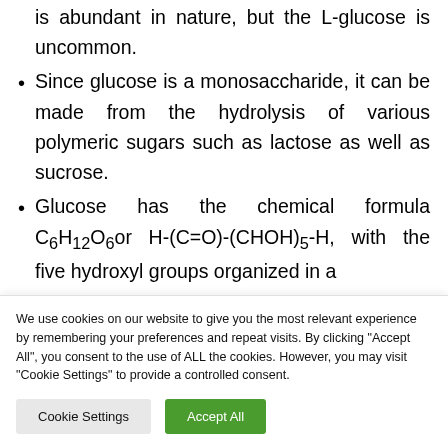is abundant in nature, but the L-glucose is uncommon.
Since glucose is a monosaccharide, it can be made from the hydrolysis of various polymeric sugars such as lactose as well as sucrose.
Glucose has the chemical formula C6H12O6or H-(C=O)-(CHOH)5-H, with the five hydroxyl groups organized in a
We use cookies on our website to give you the most relevant experience by remembering your preferences and repeat visits. By clicking "Accept All", you consent to the use of ALL the cookies. However, you may visit "Cookie Settings" to provide a controlled consent.